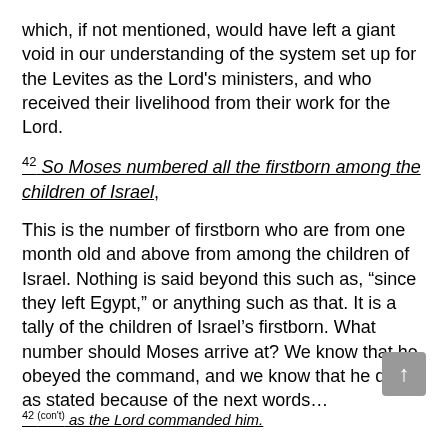which, if not mentioned, would have left a giant void in our understanding of the system set up for the Levites as the Lord's ministers, and who received their livelihood from their work for the Lord.
42 So Moses numbered all the firstborn among the children of Israel,
This is the number of firstborn who are from one month old and above from among the children of Israel. Nothing is said beyond this such as, “since they left Egypt,” or anything such as that. It is a tally of the children of Israel’s firstborn. What number should Moses arrive at? We know that he obeyed the command, and we know that he did it as stated because of the next words…
42 (con't) as the Lord commanded him.